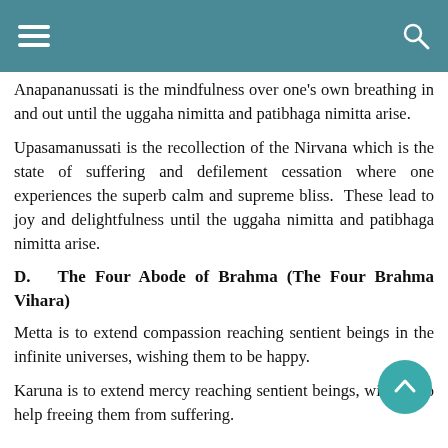[hamburger menu] [search icon]
Anapananussati is the mindfulness over one's own breathing in and out until the uggaha nimitta and patibhaga nimitta arise.
Upasamanussati is the recollection of the Nirvana which is the state of suffering and defilement cessation where one experiences the superb calm and supreme bliss.  These lead to joy and delightfulness until the uggaha nimitta and patibhaga nimitta arise.
D.  The Four Abode of Brahma (The Four Brahma Vihara)
Metta is to extend compassion reaching sentient beings in the infinite universes, wishing them to be happy.
Karuna is to extend mercy reaching sentient beings, wishing to help freeing them from suffering.